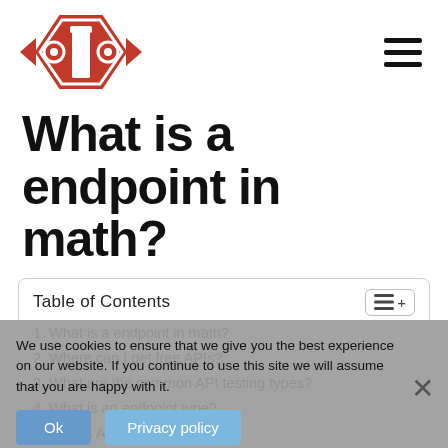[Figure (logo): OTTO logo: red hexagonal shape with OTO lettering and eye symbols]
What is a endpoint in math?
| Table of Contents |
| --- |
| 1. What is a endpoint in math? |
| 2. Where can I get free APIs? |
| 3. What are the common API testing types? |
| 4. What is an endpoint type? |
| 5. Why is API needed? |
| 6. What is endpoint in server? |
We use cookies to ensure that we give you the best experience on our website. If you continue to use this site we will assume that you are happy with it.